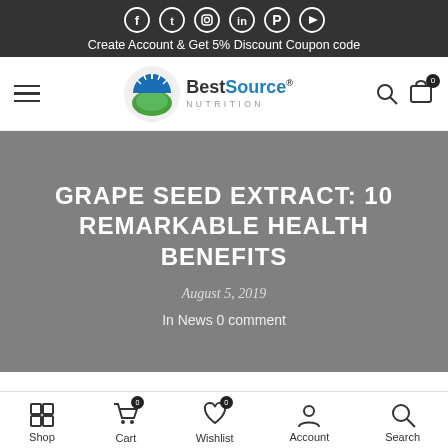[Figure (screenshot): Social media icons (Facebook, Twitter, Instagram, LinkedIn, Pinterest, YouTube) in white circles on dark background]
Create Account & Get 5% Discount Coupon code
[Figure (logo): BestSource Nutrition logo with green and blue circular emblem]
GRAPE SEED EXTRACT: 10 REMARKABLE HEALTH BENEFITS
August 5, 2019
In News 0 comment
Shop  Cart 0  Wishlist 0  Account  Search